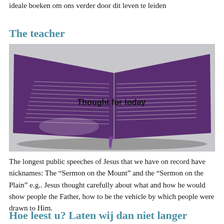ideale boeken om ons verder door dit leven te leiden
The teacher
[Figure (photo): Open Bible with purple cover and bookmark, with text overlay 'Thought for today']
The longest public speeches of Jesus that we have on record have nicknames: The “Sermon on the Mount” and the “Sermon on the Plain” e.g.. Jesus thought carefully about what and how he would show people the Father, how to be the vehicle by which people were drawn to Him.
Hoe leest u? Laten wij dan niet langer